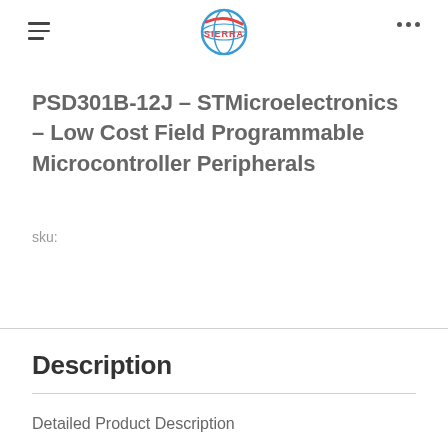SIERRA [logo]
PSD301B-12J - STMicroelectronics - Low Cost Field Programmable Microcontroller Peripherals
sku:
Description
Detailed Product Description